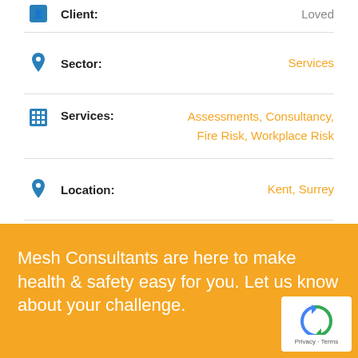Client: Loved
Sector: Services
Services: Assessments, Consultancy, Fire Risk, Workplace Risk
Location: Kent, Surrey
Mesh Consultants are here to make health & safety easy for you. Let us know about your challenge.